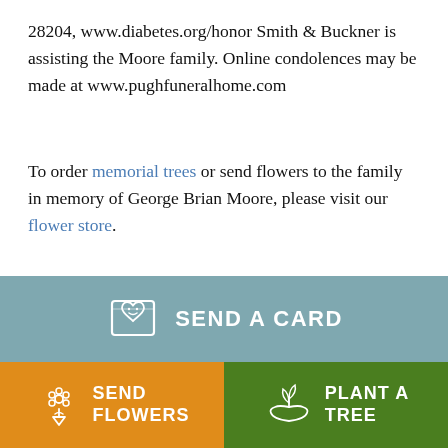28204, www.diabetes.org/honor Smith & Buckner is assisting the Moore family. Online condolences may be made at www.pughfuneralhome.com
To order memorial trees or send flowers to the family in memory of George Brian Moore, please visit our flower store.
[Figure (infographic): Three call-to-action buttons: 'SEND A CARD' (teal/blue-grey background with card icon), 'SEND FLOWERS' (orange background with flower bouquet icon), 'PLANT A TREE' (green background with plant/hand icon)]